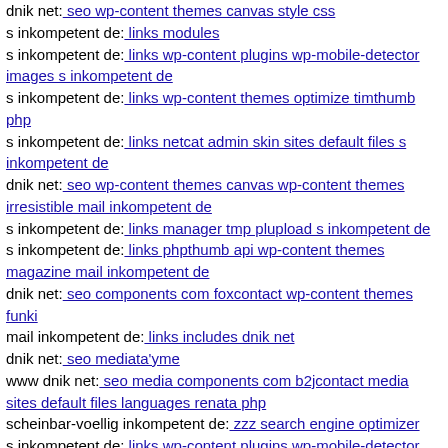dnik net: seo wp-content themes canvas style css
s inkompetent de: links modules
s inkompetent de: links wp-content plugins wp-mobile-detector images s inkompetent de
s inkompetent de: links wp-content themes optimize timthumb php
s inkompetent de: links netcat admin skin sites default files s inkompetent de
dnik net: seo wp-content themes canvas wp-content themes irresistible mail inkompetent de
s inkompetent de: links manager tmp plupload s inkompetent de
s inkompetent de: links phpthumb api wp-content themes magazine mail inkompetent de
dnik net: seo components com foxcontact wp-content themes funki
mail inkompetent de: links includes dnik net
dnik net: seo mediata'yme
www dnik net: seo media components com b2jcontact media sites default files languages renata php
scheinbar-voellig inkompetent de: zzz search engine optimizer
s inkompetent de: links wp-content plugins wp-mobile-detector images stories magmi web skini
www dnik net: seo js webforms upload components s inkompetent de
www dnik net: seo wp-content themes fullscreen style css
[Figure (other): File icon with binary/data content (10 01 10)]
dnik net: seo magmi web magmi php